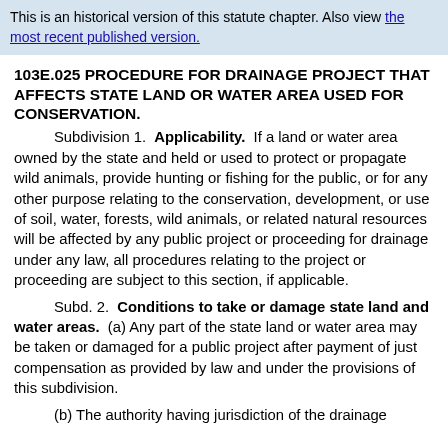This is an historical version of this statute chapter. Also view the most recent published version.
103E.025 PROCEDURE FOR DRAINAGE PROJECT THAT AFFECTS STATE LAND OR WATER AREA USED FOR CONSERVATION.
Subdivision 1. Applicability. If a land or water area owned by the state and held or used to protect or propagate wild animals, provide hunting or fishing for the public, or for any other purpose relating to the conservation, development, or use of soil, water, forests, wild animals, or related natural resources will be affected by any public project or proceeding for drainage under any law, all procedures relating to the project or proceeding are subject to this section, if applicable.
Subd. 2. Conditions to take or damage state land and water areas. (a) Any part of the state land or water area may be taken or damaged for a public project after payment of just compensation as provided by law and under the provisions of this subdivision.
(b) The authority having jurisdiction of the drainage